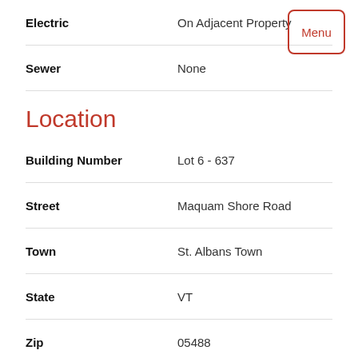| Field | Value |
| --- | --- |
| Electric | On Adjacent Property |
| Sewer | None |
Location
| Field | Value |
| --- | --- |
| Building Number | Lot 6 - 637 |
| Street | Maquam Shore Road |
| Town | St. Albans Town |
| State | VT |
| Zip | 05488 |
| County | Franklin |
| Flood Zone | No |
| District | St Albans Town School |